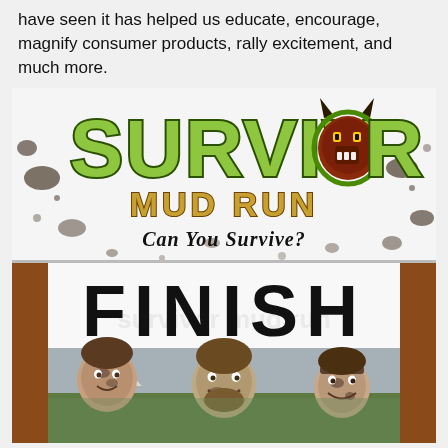have seen it has helped us educate, encourage, magnify consumer products, rally excitement, and much more.
[Figure (photo): Photo of Survivor Mud Run event. Top portion shows a banner with green graffiti-style 'SURVIVOR' text, a monster/wolf mascot logo, 'MUD RUN' in gold letters, and tagline 'Can You Survive?' Below is a finish line banner with large black 'FINISH' text on white background under a brown arch structure. Bottom shows three muddy participants smiling at the finish line with trees and crowd in background.]